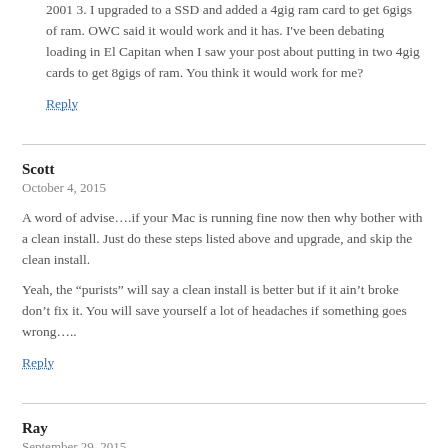2001 3. I upgraded to a SSD and added a 4gig ram card to get 6gigs of ram. OWC said it would work and it has. I've been debating loading in El Capitan when I saw your post about putting in two 4gig cards to get 8gigs of ram. You think it would work for me?
Reply
Scott
October 4, 2015
A word of advise….if your Mac is running fine now then why bother with a clean install. Just do these steps listed above and upgrade, and skip the clean install.
Yeah, the “purists” will say a clean install is better but if it ain’t broke don’t fix it. You will save yourself a lot of headaches if something goes wrong…..
Reply
Ray
September 29, 2015
Phred, while I don’t question your brain function, I am curious as to the issues you were having. I had 20 of